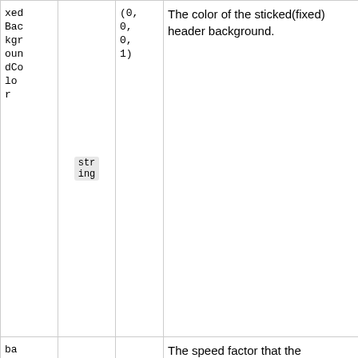| Property | Type | Default | Description |
| --- | --- | --- | --- |
| xed Bac kgr oun dCo lo r | str ing | (0, 0, 0, 1) | The color of the sticked(fixed) header background. |
| ba ckg rou ndS cal e | num ber | 3 | The speed factor that the background scales. Respects backgroundScaleOrigin |
| ba ckg ... |  |  | The point of which the background should scroll from. Use top with backgroundScale= ra... in order to achieve ... |